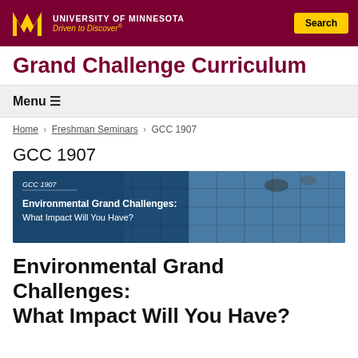University of Minnesota — Driven to Discover®
Grand Challenge Curriculum
Menu ≡
Home › Freshman Seminars › GCC 1907
GCC 1907
[Figure (photo): Course banner image showing solar panels with overlay text: GCC 1907, Environmental Grand Challenges: What Impact Will You Have?]
Environmental Grand Challenges: What Impact Will You Have?